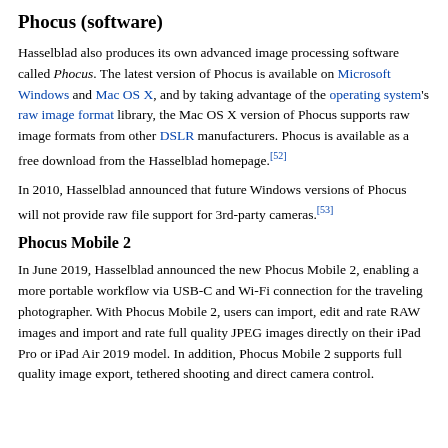Phocus (software)
Hasselblad also produces its own advanced image processing software called Phocus. The latest version of Phocus is available on Microsoft Windows and Mac OS X, and by taking advantage of the operating system's raw image format library, the Mac OS X version of Phocus supports raw image formats from other DSLR manufacturers. Phocus is available as a free download from the Hasselblad homepage.[52]
In 2010, Hasselblad announced that future Windows versions of Phocus will not provide raw file support for 3rd-party cameras.[53]
Phocus Mobile 2
In June 2019, Hasselblad announced the new Phocus Mobile 2, enabling a more portable workflow via USB-C and Wi-Fi connection for the traveling photographer. With Phocus Mobile 2, users can import, edit and rate RAW images and import and rate full quality JPEG images directly on their iPad Pro or iPad Air 2019 model. In addition, Phocus Mobile 2 supports full quality image export, tethered shooting and direct camera control.